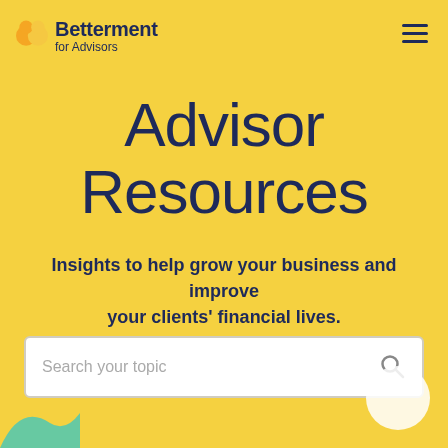Betterment for Advisors
Advisor Resources
Insights to help grow your business and improve your clients' financial lives.
[Figure (other): Search bar with placeholder text 'Search your topic' and a magnifying glass icon on the right]